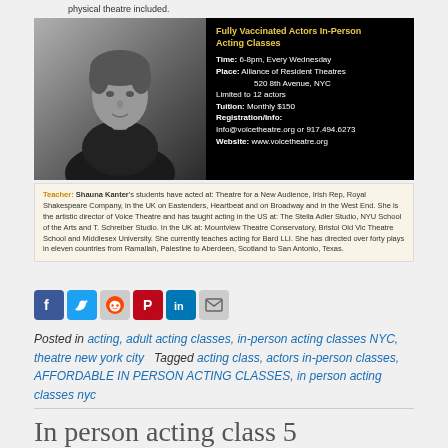physical theatre included.
[Figure (photo): Black and white photo of a woman (Shauna Kanter) alongside a dark info card for Fully Vaccinated Actors In-Person Acting Classes]
Teacher: Shauna Kanter's students have acted at: Theatre for a New Audience, Irish Rep, Royal Shakespeare Company, in the UK on Eastenders, Heartbeat and on Broadway and in the West End. She is the artistic director of Voice Theatre and has taught acting in the US at: The Stella Adler Studio, NYU School of the Arts and T. Schreiber Studio. In the UK at: Mountview Theatre Conservatory, Bristol Old Vic Theatre School and Middlesex University. She currently teaches acting for Bard LLI. She has directed over forty plays in eleven countries from Ramallah, Palestine to Aberdeen, Scotland to San Antonio, Texas.
[Figure (infographic): Social media share icons: Facebook, Twitter, Reddit, Pinterest, LinkedIn, Email]
Posted in acting, adult acting classes, in-person acting classes NYC, theatre new york city   Tagged acting class, actors in-person classes, AFFORDABLE IN PERSON ACTING CLASSES, in person acting classes nyc
In person acting class 5